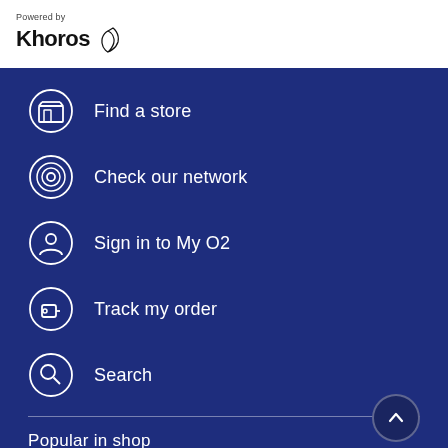[Figure (logo): Powered by Khoros logo with bird-like swoosh icon]
Find a store
Check our network
Sign in to My O2
Track my order
Search
Popular in shop
iPhone 12 5G
iPhone 12 mini 5G